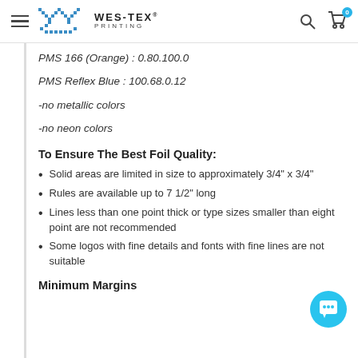WES-TEX PRINTING
PMS 166 (Orange) : 0.80.100.0
PMS Reflex Blue : 100.68.0.12
-no metallic colors
-no neon colors
To Ensure The Best Foil Quality:
Solid areas are limited in size to approximately 3/4" x 3/4"
Rules are available up to 7 1/2" long
Lines less than one point thick or type sizes smaller than eight point are not recommended
Some logos with fine details and fonts with fine lines are not suitable
Minimum Margins